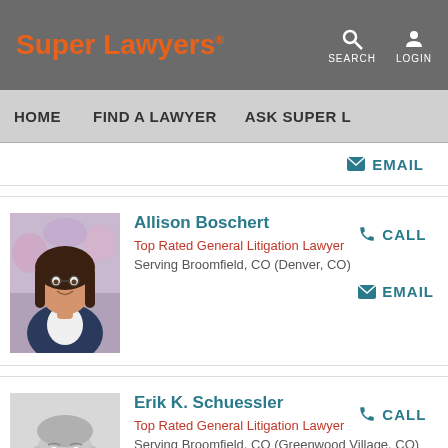Super Lawyers
SEARCH LOGIN
HOME   FIND A LAWYER   ASK SUPER L...
EMAIL
[Figure (photo): Photo of Allison Boschert, a woman with dark hair wearing a navy blazer, photographed outdoors with flowers in the background]
Allison Boschert
Top Rated General Litigation Lawyer
Serving Broomfield, CO (Denver, CO)
CALL
EMAIL
[Figure (photo): Black and white photo of Erik K. Schuessler, a man in a suit and tie, smiling]
Erik K. Schuessler
Top Rated General Litigation Lawyer
Serving Broomfield, CO (Greenwood Village, CO)
CALL
EMAIL